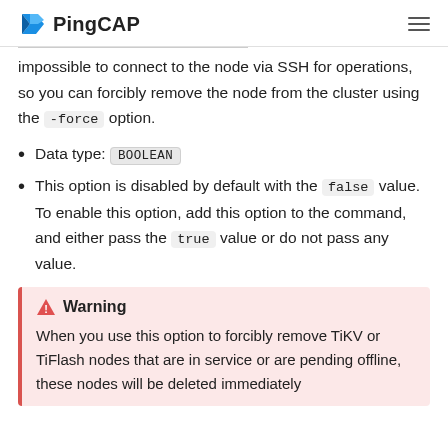PingCAP
impossible to connect to the node via SSH for operations, so you can forcibly remove the node from the cluster using the -force option.
Data type: BOOLEAN
This option is disabled by default with the false value. To enable this option, add this option to the command, and either pass the true value or do not pass any value.
Warning
When you use this option to forcibly remove TiKV or TiFlash nodes that are in service or are pending offline, these nodes will be deleted immediately